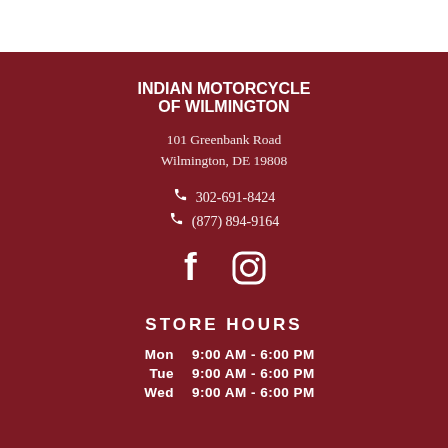INDIAN MOTORCYCLE OF WILMINGTON
101 Greenbank Road
Wilmington, DE 19808
302-691-8424
(877) 894-9164
[Figure (logo): Social media icons: Facebook and Instagram]
STORE HOURS
| Day | Hours |
| --- | --- |
| Mon | 9:00 AM - 6:00 PM |
| Tue | 9:00 AM - 6:00 PM |
| Wed | 9:00 AM - 6:00 PM |